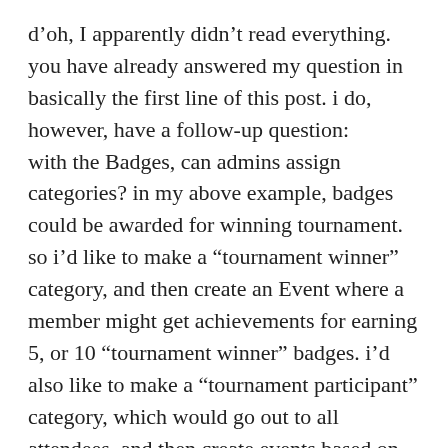d’oh, I apparently didn’t read everything. you have already answered my question in basically the first line of this post. i do, however, have a follow-up question:
with the Badges, can admins assign categories? in my above example, badges could be awarded for winning tournament. so i’d like to make a “tournament winner” category, and then create an Event where a member might get achievements for earning 5, or 10 “tournament winner” badges. i’d also like to make a “tournament participant” category, which would go out to all attendees, and then create events based on the number of tournaments they’ve attended.
would being awarded a badge count as a condition